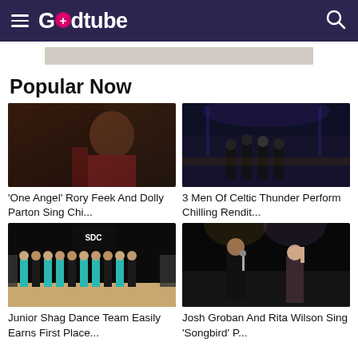GodTube
[Figure (photo): Rory Feek portrait, man with beard in red garment in dark setting]
'One Angel' Rory Feek And Dolly Parton Sing Chi...
[Figure (photo): 3 Men of Celtic Thunder performing on stage with band behind them]
3 Men Of Celtic Thunder Perform Chilling Rendit...
[Figure (photo): Junior Shag Dance Team in teal and black outfits on dance floor]
Junior Shag Dance Team Easily Earns First Place...
[Figure (photo): Josh Groban and Rita Wilson singing on stage]
Josh Groban And Rita Wilson Sing 'Songbird' P...